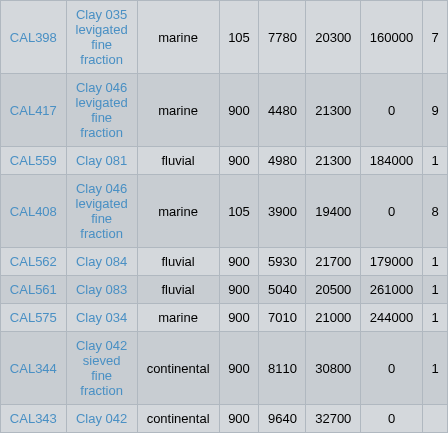| ID | Material | Environment | Col4 | Col5 | Col6 | Col7 | Col8 |
| --- | --- | --- | --- | --- | --- | --- | --- |
| CAL398 | Clay 035 levigated fine fraction | marine | 105 | 7780 | 20300 | 160000 | 7 |
| CAL417 | Clay 046 levigated fine fraction | marine | 900 | 4480 | 21300 | 0 | 9 |
| CAL559 | Clay 081 | fluvial | 900 | 4980 | 21300 | 184000 | 1 |
| CAL408 | Clay 046 levigated fine fraction | marine | 105 | 3900 | 19400 | 0 | 8 |
| CAL562 | Clay 084 | fluvial | 900 | 5930 | 21700 | 179000 | 1 |
| CAL561 | Clay 083 | fluvial | 900 | 5040 | 20500 | 261000 | 1 |
| CAL575 | Clay 034 | marine | 900 | 7010 | 21000 | 244000 | 1 |
| CAL344 | Clay 042 sieved fine fraction | continental | 900 | 8110 | 30800 | 0 | 1 |
| CAL343 | Clay 042 | continental | 900 | 9640 | 32700 | 0 |  |